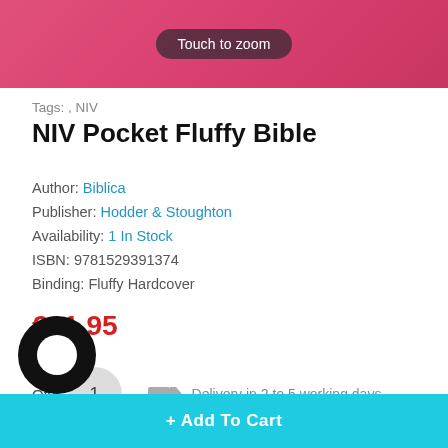[Figure (photo): Pink fluffy texture background with 'Touch to zoom' button overlay]
Tags: , NIV
NIV Pocket Fluffy Bible
Author: Biblica
Publisher: Hodder & Stoughton
Availability: 1 In Stock
ISBN: 9781529391374
Binding: Fluffy Hardcover
€21.95
Qty: 1
Delivery in 2 to 5 working days
+ Add To Cart